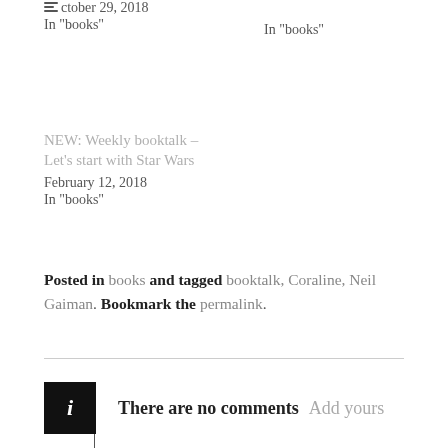October 29, 2018
In "books"
In "books"
NEW: Weekly booktalk –
Let's start with Star Wars
February 12, 2018
In "books"
Posted in books and tagged booktalk, Coraline, Neil Gaiman. Bookmark the permalink.
There are no comments  Add yours